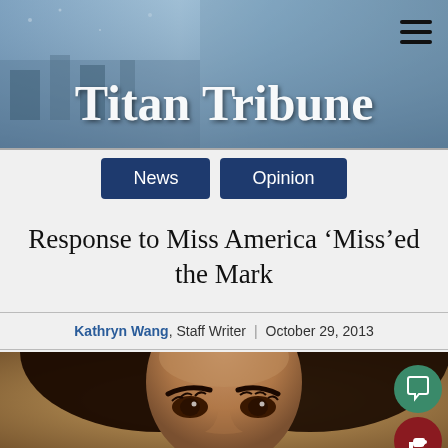[Figure (illustration): Titan Tribune newspaper website header banner with blue tinted photo collage background and white bold title text 'Titan Tribune', plus hamburger menu icon in top right]
Titan Tribune
News | Opinion
Response to Miss America ‘Miss’ed the Mark
Kathryn Wang, Staff Writer | October 29, 2013
[Figure (photo): Close-up portrait photo of a young woman with long dark hair, facing slightly upward, with brown eyes and defined eyebrows]